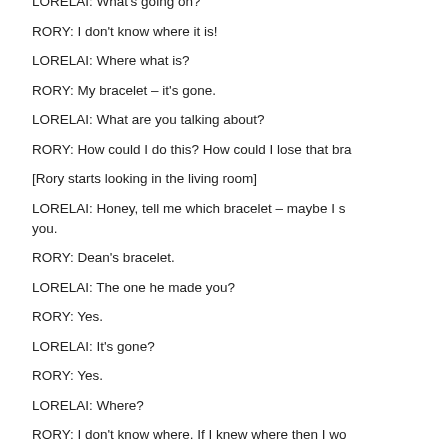LORELAI: What's going on?
RORY: I don't know where it is!
LORELAI: Where what is?
RORY: My bracelet – it's gone.
LORELAI: What are you talking about?
RORY: How could I do this? How could I lose that bra…
[Rory starts looking in the living room]
LORELAI: Honey, tell me which bracelet – maybe I s… you.
RORY: Dean's bracelet.
LORELAI: The one he made you?
RORY: Yes.
LORELAI: It's gone?
RORY: Yes.
LORELAI: Where?
RORY: I don't know where. If I knew where then I wo… it.